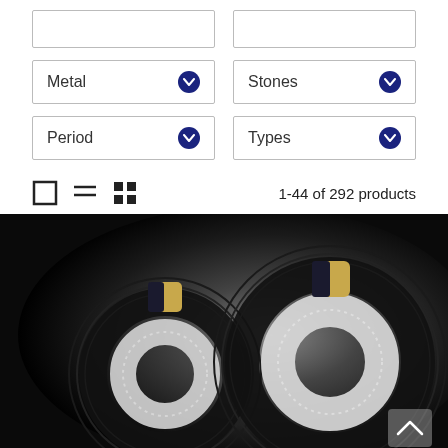[Figure (screenshot): Filter dropdowns UI: two empty placeholder boxes, then Metal and Stones dropdowns, then Period and Types dropdowns, then toolbar with view icons and product count '1-44 of 292 products']
Metal
Stones
Period
Types
1-44 of 292 products
[Figure (photo): Two large luxury earrings with black enamel, pavé diamonds, and yellow gold on dark background]